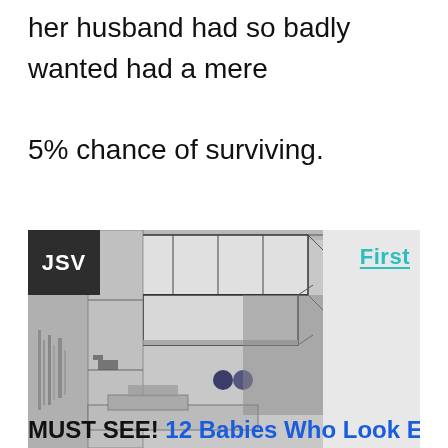her husband had so badly wanted had a mere 5% chance of surviving.
[Figure (illustration): Advertisement image showing an architectural sketch/illustration of a modern kitchen or building interior with overhead cabinets. Contains a 'JSV' badge in dark background on top left and 'First' logo in teal on the right side. Two navigation dots visible in center-bottom area.]
MUST SEE! 12 Babies Who Look EXACTLY Like